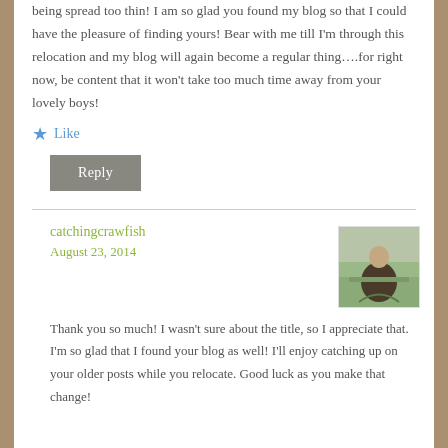being spread too thin! I am so glad you found my blog so that I could have the pleasure of finding yours! Bear with me till I'm through this relocation and my blog will again become a regular thing….for right now, be content that it won't take too much time away from your lovely boys!
★ Like
Reply
catchingcrawfish
August 23, 2014
[Figure (photo): Avatar/profile photo of a person outdoors in nature]
Thank you so much! I wasn't sure about the title, so I appreciate that. I'm so glad that I found your blog as well! I'll enjoy catching up on your older posts while you relocate. Good luck as you make that change!